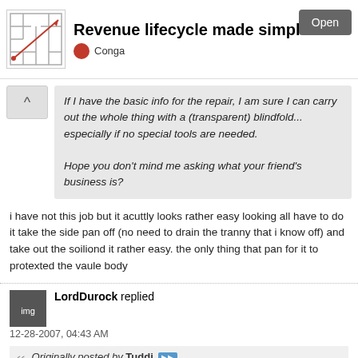[Figure (other): Advertisement banner: maze-like logo image, text 'Revenue lifecycle made simple', Conga brand, Open button]
If I have the basic info for the repair, I am sure I can carry out the whole thing with a (transparent) blindfold... especially if no special tools are needed.

Hope you don't mind me asking what your friend's business is?
i have not this job but it acuttly looks rather easy looking all have to do it take the side pan off (no need to drain the tranny that i know off) and take out the soiliond it rather easy. the only thing that pan for it to protexted the vaule body
LordDurock replied
12-28-2007, 04:43 AM
Originally posted by Tuddi
Nope. Living down in Peru South America is a perfect way to be far away from spareparts, manuals and such remedies 😊